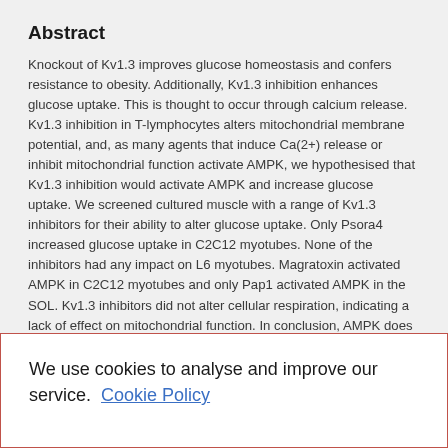Abstract
Knockout of Kv1.3 improves glucose homeostasis and confers resistance to obesity. Additionally, Kv1.3 inhibition enhances glucose uptake. This is thought to occur through calcium release. Kv1.3 inhibition in T-lymphocytes alters mitochondrial membrane potential, and, as many agents that induce Ca(2+) release or inhibit mitochondrial function activate AMPK, we hypothesised that Kv1.3 inhibition would activate AMPK and increase glucose uptake. We screened cultured muscle with a range of Kv1.3 inhibitors for their ability to alter glucose uptake. Only Psora4 increased glucose uptake in C2C12 myotubes. None of the inhibitors had any impact on L6 myotubes. Magratoxin activated AMPK in C2C12 myotubes and only Pap1 activated AMPK in the SOL. Kv1.3 inhibitors did not alter cellular respiration, indicating a lack of effect on mitochondrial function. In conclusion, AMPK does not mediate the effects of Kv1.3 inhibitors and they display differential effects in different skeletal muscle cell lines without
We use cookies to analyse and improve our service. Cookie Policy